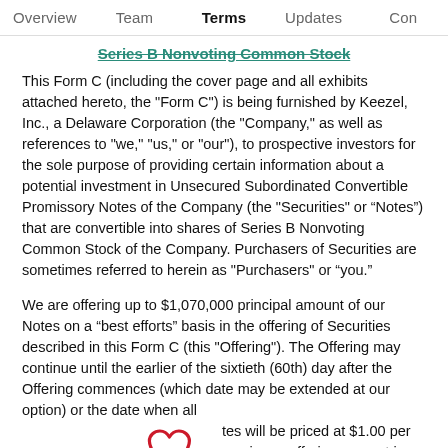Overview   Team   Terms   Updates   Con
Series B Nonvoting Common Stock
This Form C (including the cover page and all exhibits attached hereto, the "Form C") is being furnished by Keezel, Inc., a Delaware Corporation (the "Company," as well as references to "we," "us," or "our"), to prospective investors for the sole purpose of providing certain information about a potential investment in Unsecured Subordinated Convertible Promissory Notes of the Company (the "Securities" or “Notes”) that are convertible into shares of Series B Nonvoting Common Stock of the Company. Purchasers of Securities are sometimes referred to herein as "Purchasers" or “you.”
We are offering up to $1,070,000 principal amount of our Notes on a “best efforts” basis in the offering of Securities described in this Form C (this "Offering"). The Offering may continue until the earlier of the sixtieth (60th) day after the Offering commences (which date may be extended at our option) or the date when all …tes will be priced at $1.00 per …maximum offering amount in this
[Figure (illustration): Heart/favorite icon (outline heart shape in red/crimson color)]